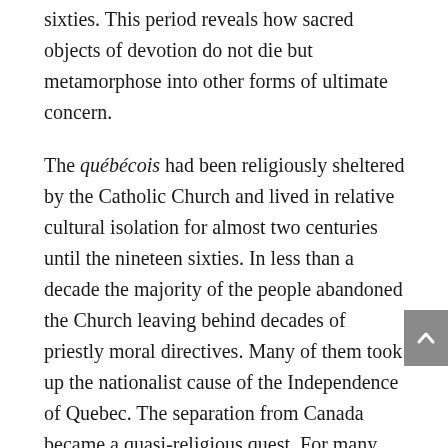sixties. This period reveals how sacred objects of devotion do not die but metamorphose into other forms of ultimate concern.
The québécois had been religiously sheltered by the Catholic Church and lived in relative cultural isolation for almost two centuries until the nineteen sixties. In less than a decade the majority of the people abandoned the Church leaving behind decades of priestly moral directives. Many of them took up the nationalist cause of the Independence of Quebec. The separation from Canada became a quasi-religious quest. For many, independence was perceived as a matter of